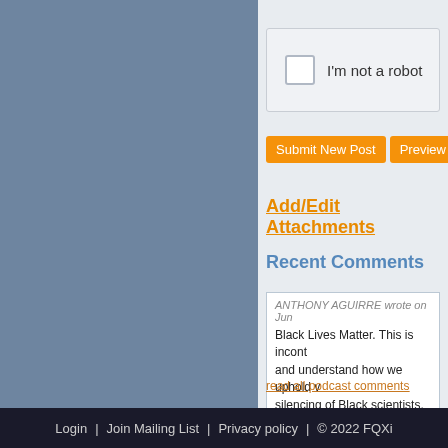[Figure (screenshot): CAPTCHA widget with checkbox and 'I'm not a robot' label]
Submit New Post | Preview Post Te
Add/Edit Attachments
Recent Comments
ANTHONY AGUIRRE wrote on Jun... Black Lives Matter. This is incont... and understand how we uphold v... silencing of Black scientists, of B... physics and cosmology. Academ... comes when we say Black Lives ...

As...
read all podcast comments
Login | Join Mailing List | Privacy policy | © 2022 FQXi